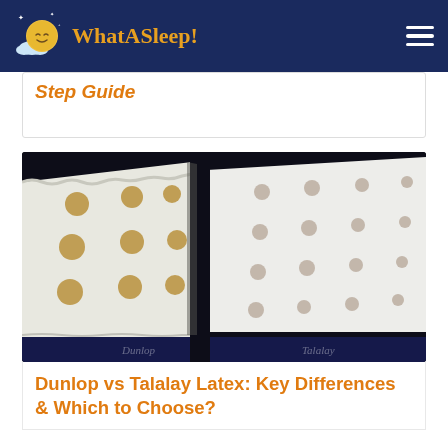WhatASleep!
Step Guide
[Figure (photo): Close-up photograph of two latex foam mattress layers side by side against a dark background, showing perforated holes through the white foam material — representing Dunlop and Talalay latex types.]
Dunlop vs Talalay Latex: Key Differences & Which to Choose?